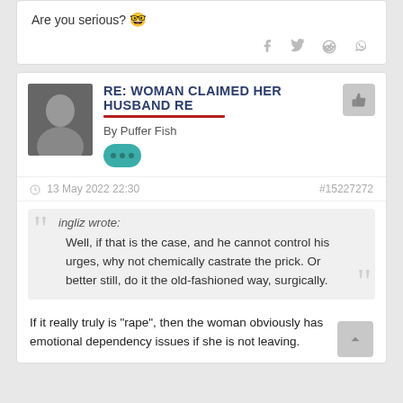Are you serious? 🤓
RE: WOMAN CLAIMED HER HUSBAND RE
By Puffer Fish
- 13 May 2022 22:30  #15227272
ingliz wrote: Well, if that is the case, and he cannot control his urges, why not chemically castrate the prick. Or better still, do it the old-fashioned way, surgically.
If it really truly is "rape", then the woman obviously has emotional dependency issues if she is not leaving.